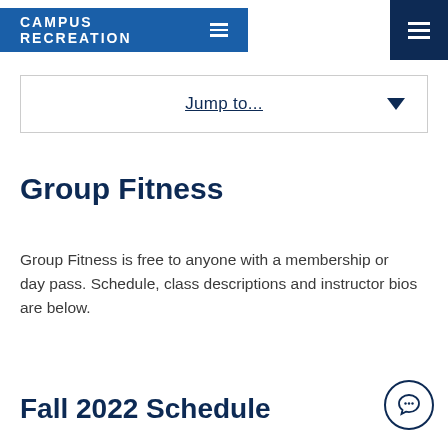CAMPUS RECREATION
Jump to...
Group Fitness
Group Fitness is free to anyone with a membership or day pass. Schedule, class descriptions and instructor bios are below.
Fall 2022 Schedule